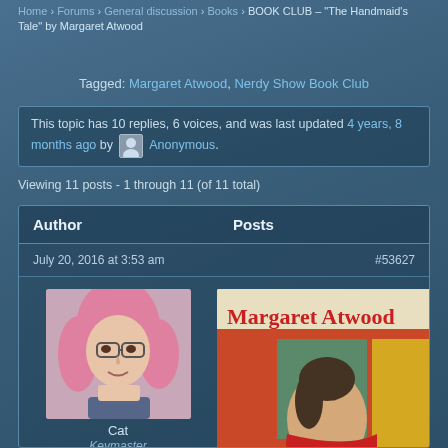Home › Forums › General discussion › Books › BOOK CLUB – "The Handmaid's Tale" by Margaret Atwood
Tagged: Margaret Atwood, Nerdy Show Book Club
This topic has 10 replies, 6 voices, and was last updated 4 years, 8 months ago by Anonymous.
Viewing 11 posts - 1 through 11 (of 11 total)
| Author | Posts |
| --- | --- |
| July 20, 2016 at 3:53 am | #53627 |
| Cat
Keymaster | [book cover image] |
[Figure (photo): Pink-haired woman with glasses - user avatar for Cat]
[Figure (photo): Book cover: The Handmaid's Tale by Margaret Atwood, showing a woman in red]